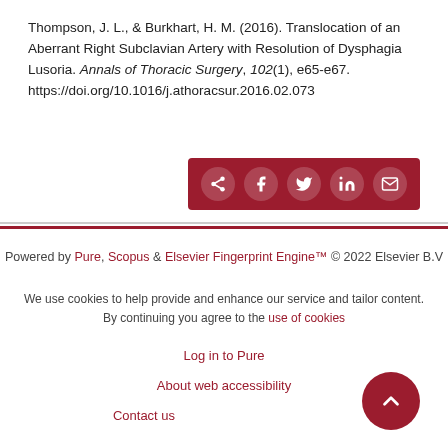Thompson, J. L., & Burkhart, H. M. (2016). Translocation of an Aberrant Right Subclavian Artery with Resolution of Dysphagia Lusoria. Annals of Thoracic Surgery, 102(1), e65-e67. https://doi.org/10.1016/j.athoracsur.2016.02.073
[Figure (other): Share buttons bar with dark red background showing share, Facebook, Twitter, LinkedIn, and email icons]
Powered by Pure, Scopus & Elsevier Fingerprint Engine™ © 2022 Elsevier B.V
We use cookies to help provide and enhance our service and tailor content. By continuing you agree to the use of cookies
Log in to Pure
About web accessibility
Contact us